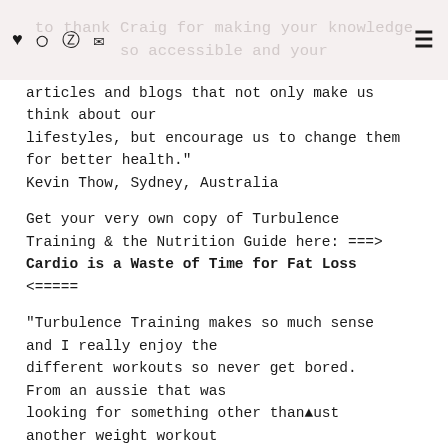to thank Craig for making your knowledge so accessible and your
articles and blogs that not only make us think about our lifestyles, but encourage us to change them for better health."
Kevin Thow, Sydney, Australia
Get your very own copy of Turbulence Training & the Nutrition Guide here: ===> Cardio is a Waste of Time for Fat Loss <=====
"Turbulence Training makes so much sense and I really enjoy the different workouts so never get bored. From an aussie that was looking for something other than just another weight workout with the same old moves this has been a